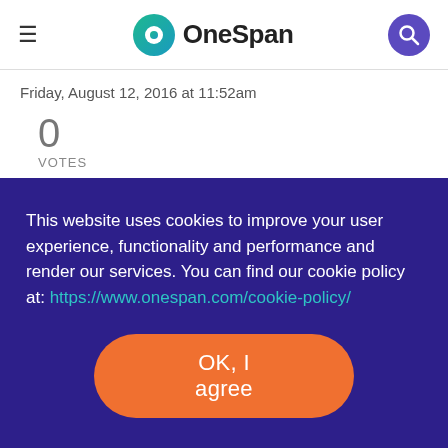OneSpan
Friday, August 12, 2016 at 11:52am
0
VOTES
We are on esinglive.com (new UI), but I see the owner in
This website uses cookies to improve your user experience, functionality and performance and render our services. You can find our cookie policy at: https://www.onespan.com/cookie-policy/
OK, I agree